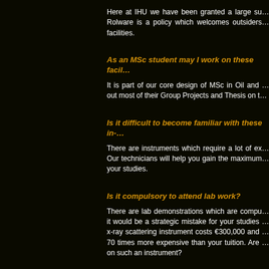Here at IHU we have been granted a large su… Rolware is a policy which welcomes outsiders… facilities.
As an MSc student may I work on these facil…
It is part of our core design of MSc in Oil and … out most of their Group Projects and Thesis on t…
Is it difficult to become familiar with these in-…
There are instruments which require a lot of ex… Our technicians will help you gain the maximum… your studies.
Is it compulsory to attend lab work?
There are lab demonstrations which are compu… it would be a strategic mistake for your studies … x-ray scattering instrument costs €300,000 and … 70 times more expensive than your tuition. Are … on such an instrument?